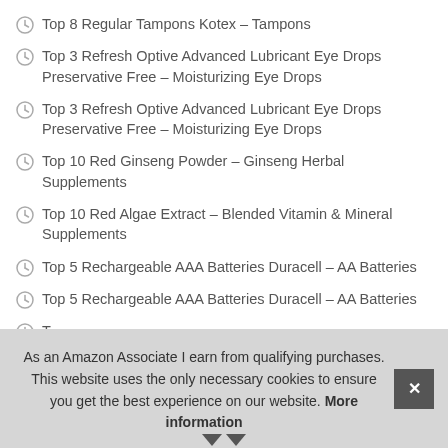Top 8 Regular Tampons Kotex – Tampons
Top 3 Refresh Optive Advanced Lubricant Eye Drops Preservative Free – Moisturizing Eye Drops
Top 3 Refresh Optive Advanced Lubricant Eye Drops Preservative Free – Moisturizing Eye Drops
Top 10 Red Ginseng Powder – Ginseng Herbal Supplements
Top 10 Red Algae Extract – Blended Vitamin & Mineral Supplements
Top 5 Rechargeable AAA Batteries Duracell – AA Batteries
Top 5 Rechargeable AAA Batteries Duracell – AA Batteries
T…
As an Amazon Associate I earn from qualifying purchases. This website uses the only necessary cookies to ensure you get the best experience on our website. More information